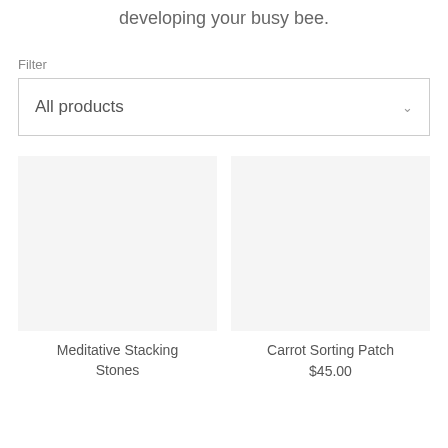developing your busy bee.
Filter
All products
Meditative Stacking Stones
Carrot Sorting Patch $45.00